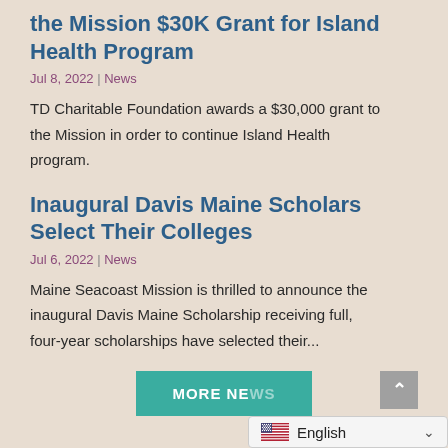the Mission $30K Grant for Island Health Program
Jul 8, 2022 | News
TD Charitable Foundation awards a $30,000 grant to the Mission in order to continue Island Health program.
Inaugural Davis Maine Scholars Select Their Colleges
Jul 6, 2022 | News
Maine Seacoast Mission is thrilled to announce the inaugural Davis Maine Scholarship receiving full, four-year scholarships have selected their...
MORE NEWS
English